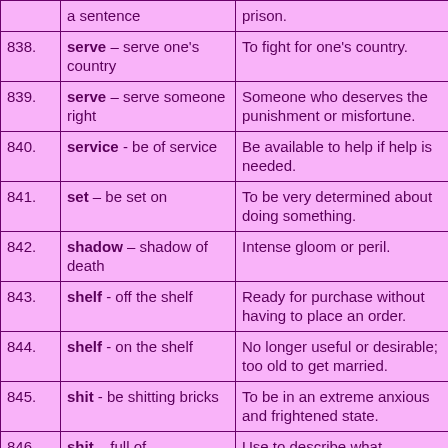|  | a sentence | prison. |
| 838. | serve – serve one's country | To fight for one's country. |
| 839. | serve – serve someone right | Someone who deserves the punishment or misfortune. |
| 840. | service - be of service | Be available to help if help is needed. |
| 841. | set – be set on | To be very determined about doing something. |
| 842. | shadow – shadow of death | Intense gloom or peril. |
| 843. | shelf - off the shelf | Ready for purchase without having to place an order. |
| 844. | shelf - on the shelf | No longer useful or desirable; too old to get married. |
| 845. | shit - be shitting bricks | To be in an extreme anxious and frightened state. |
| 846. | shit – full of | Use to describe what |